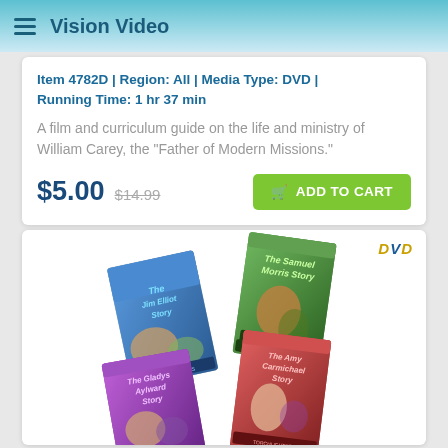Vision Video
Item 4782D | Region: All | Media Type: DVD | Running Time: 1 hr 37 min
A film and curriculum guide on the life and ministry of William Carey, the "Father of Modern Missions."
$5.00 $14.99 ADD TO CART
[Figure (photo): Four animated DVD covers: The Jim Elliot Story, The Samuel Morris Story, The Gladys Aylward Story, The Amy Carmichael Story]